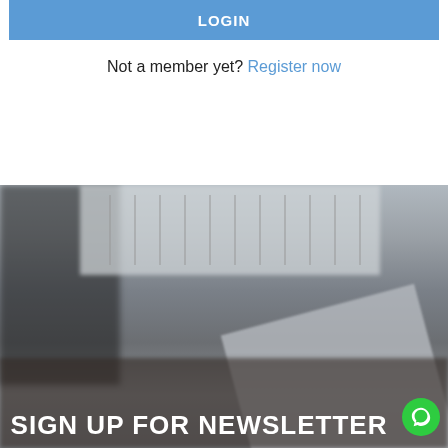LOGIN
Not a member yet? Register now
[Figure (photo): Blurred background photo showing a person's legs/feet and a laptop on a wooden floor with a white radiator in the background]
SIGN UP FOR NEWSLETTER